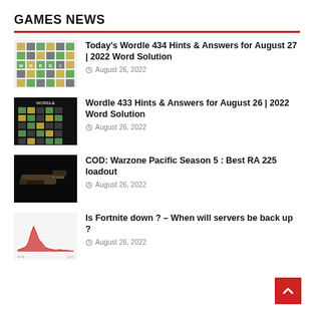GAMES NEWS
Today's Wordle 434 Hints & Answers for August 27 | 2022 Word Solution
August 26, 2022
Wordle 433 Hints & Answers for August 26 | 2022 Word Solution
August 26, 2022
COD: Warzone Pacific Season 5 : Best RA 225 loadout
August 26, 2022
Is Fortnite down ? – When will servers be back up ?
August 26, 2022